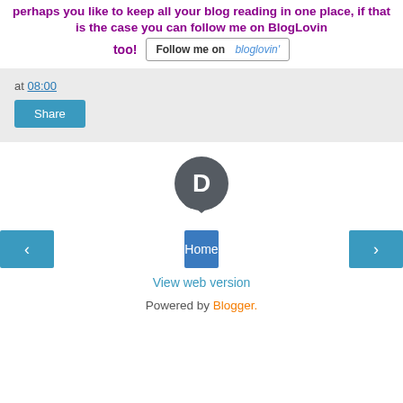perhaps you like to keep all your blog reading in one place, if that is the case you can follow me on BlogLovin too!
[Figure (screenshot): Follow me on bloglovin' button]
at 08:00
Share
[Figure (logo): Disqus logo icon - dark circular speech bubble with D]
Home
View web version
Powered by Blogger.